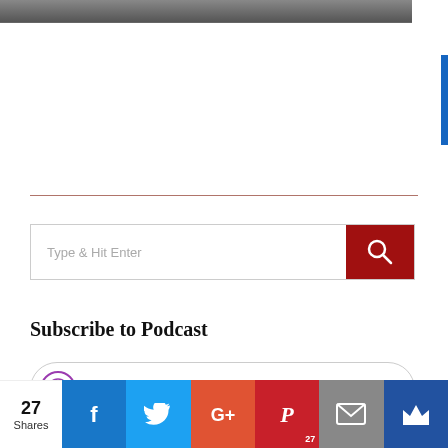[Figure (screenshot): Top portion of a webpage showing a partial image (gray/dark tones) at the top, a blue sidebar element on the right, a horizontal divider line, a search box with red search button, a 'Subscribe to Podcast' heading, Apple Podcasts and Google Podcasts subscription pill buttons, and a social sharing bar at the bottom with Facebook, Twitter, Google+, Pinterest, Email, and Crown share buttons.]
Type & Hit Enter
Subscribe to Podcast
Apple Podcasts
Google Podcasts
27 Shares